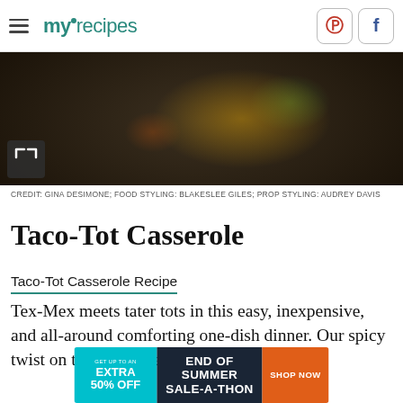myrecipes (navigation bar with Pinterest and Facebook social buttons)
[Figure (photo): Overhead photo of a taco-tot casserole in a dark skillet with jalapeño slices and cheese on top, on a linen cloth background]
CREDIT: GINA DESIMONE; FOOD STYLING: BLAKESLEE GILES; PROP STYLING: AUDREY DAVIS
Taco-Tot Casserole
Taco-Tot Casserole Recipe
Tex-Mex meets tater tots in this easy, inexpensive, and all-around comforting one-dish dinner. Our spicy twist on the classic tater tot casserole...